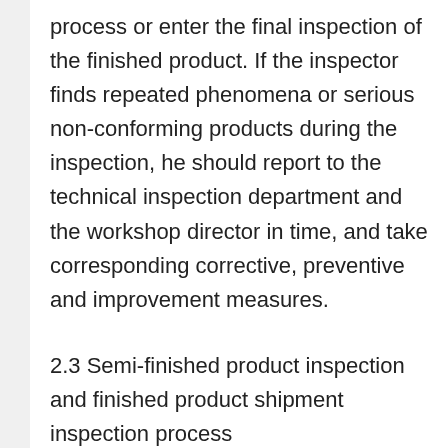process or enter the final inspection of the finished product. If the inspector finds repeated phenomena or serious non-conforming products during the inspection, he should report to the technical inspection department and the workshop director in time, and take corresponding corrective, preventive and improvement measures.
2.3 Semi-finished product inspection and finished product shipment inspection process